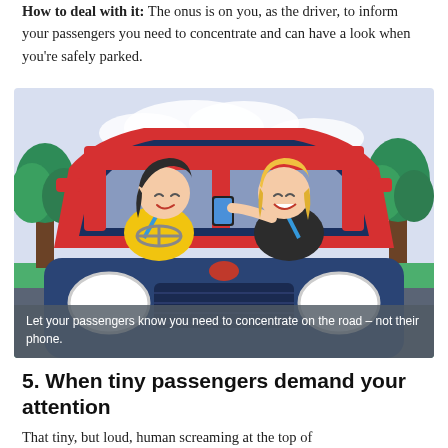How to deal with it: The onus is on you, as the driver, to inform your passengers you need to concentrate and can have a look when you're safely parked.
[Figure (illustration): Illustration of two people in the front seats of a red SUV/car. The driver (left, wearing yellow top) is smiling. The passenger (right, wearing black top, blonde hair) is holding a phone and showing it to the driver. Green trees and a light purple sky visible in background. The front of the blue car with round headlights visible at the bottom.]
Let your passengers know you need to concentrate on the road – not their phone.
5. When tiny passengers demand your attention
That tiny, but loud, human screaming at the top of